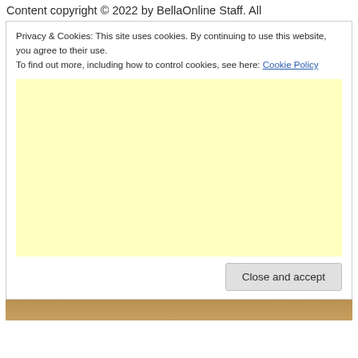Content copyright © 2022 by BellaOnline Staff. All
Privacy & Cookies: This site uses cookies. By continuing to use this website, you agree to their use.
To find out more, including how to control cookies, see here: Cookie Policy
[Figure (other): Light yellow advertisement placeholder box]
Close and accept
[Figure (photo): Partial image visible at bottom of page]